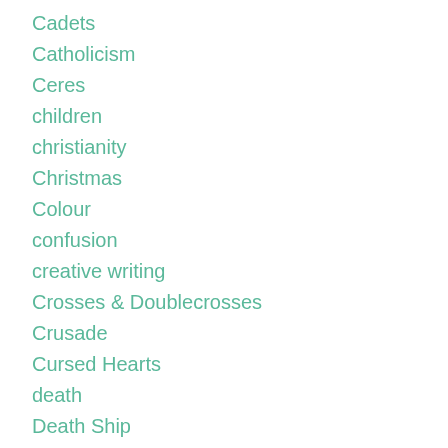Cadets
Catholicism
Ceres
children
christianity
Christmas
Colour
confusion
creative writing
Crosses & Doublecrosses
Crusade
Cursed Hearts
death
Death Ship
Defiant
economics
editing
Empire's Agent